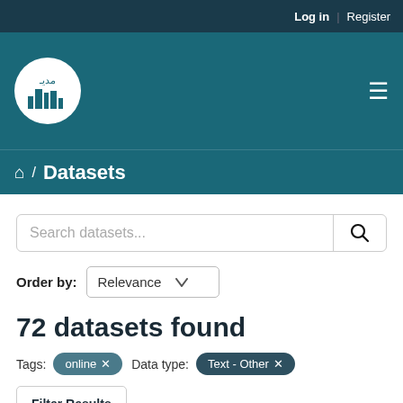Log in  Register
[Figure (logo): Circular white logo with Arabic text and city skyline graphic on teal header background]
Datasets
Search datasets...
Order by: Relevance
72 datasets found
Tags: online ×  Data type: Text - Other ×
Filter Results